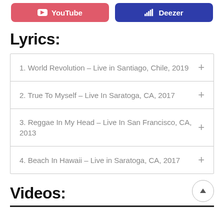[Figure (other): Two streaming service buttons: YouTube (red/pink) and Deezer (dark blue) at the top of the page]
Lyrics:
1. World Revolution - Live in Santiago, Chile, 2019
2. True To Myself - Live In Saratoga, CA, 2017
3. Reggae In My Head - Live In San Francisco, CA, 2013
4. Beach In Hawaii - Live in Saratoga, CA, 2017
Videos: